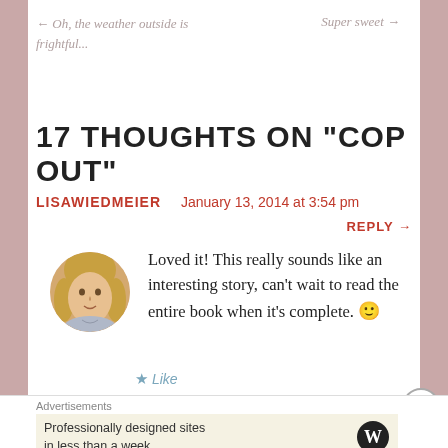← Oh, the weather outside is frightful...    Super sweet →
17 THOUGHTS ON "COP OUT"
LISAWIEDMEIER   January 13, 2014 at 3:54 pm
REPLY →
Loved it! This really sounds like an interesting story, can't wait to read the entire book when it's complete. 🙂
★ Like
Advertisements
Professionally designed sites in less than a week